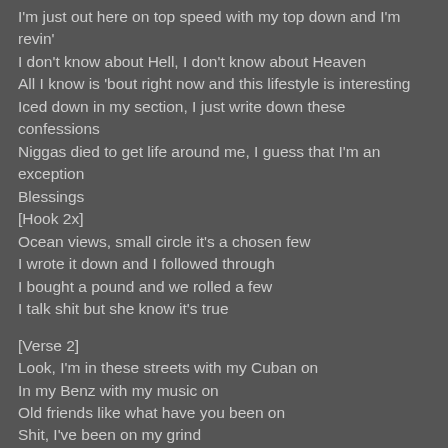I'm just out here on top speed with my top down and I'm revin'
I don't know about Hell, I don't know about Heaven
All I know is 'bout right now and this lifestyle is interesting
Iced down in my section, I just write down these confessions
Niggas died to get life around me, I guess that I'm an exception
Blessings
[Hook 2x]
Ocean views, small circle it's a chosen few
I wrote it down and I followed through
I bought a pound and we rolled a few
I talk shit but she know it's true
[Verse 2]
Look, I'm in these streets with my Cuban on
In my Benz with my music on
Old friends like what have you been on
Shit, I've been on my grind
I ain't usually home, focused, I ain't using phones